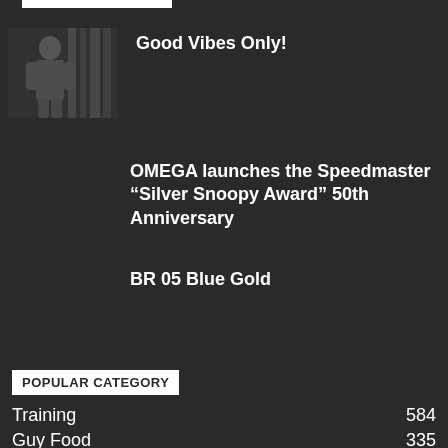[Figure (photo): Black and white photo of a person standing in front of curtains]
Good Vibes Only!
OMEGA launches the Speedmaster “Silver Snoopy Award” 50th Anniversary
BR 05 Blue Gold
POPULAR CATEGORY
Training 584
Guy Food 335